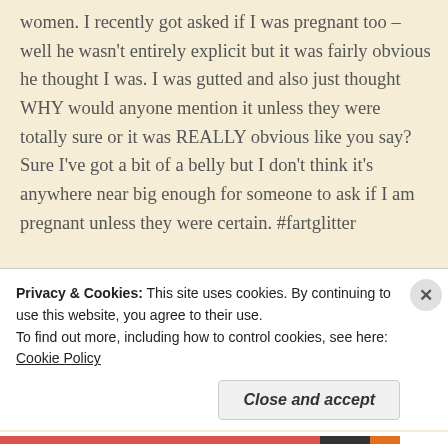women. I recently got asked if I was pregnant too – well he wasn't entirely explicit but it was fairly obvious he thought I was. I was gutted and also just thought WHY would anyone mention it unless they were totally sure or it was REALLY obvious like you say? Sure I've got a bit of a belly but I don't think it's anywhere near big enough for someone to ask if I am pregnant unless they were certain. #fartglitter
★ Like
Reply
Privacy & Cookies: This site uses cookies. By continuing to use this website, you agree to their use.
To find out more, including how to control cookies, see here: Cookie Policy
Close and accept